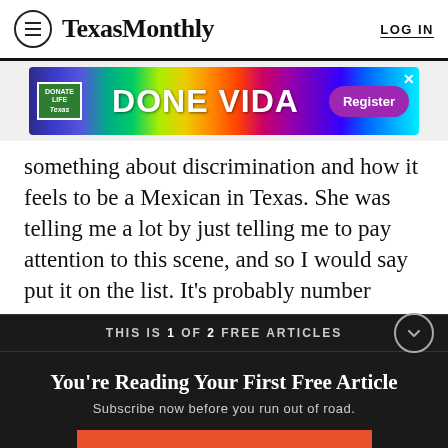Texas Monthly   LOG IN
[Figure (illustration): DONE VIDA advertisement banner with Donate Life Texas logo and Register button]
something about discrimination and how it feels to be a Mexican in Texas. She was telling me a lot by just telling me to pay attention to this scene, and so I would say put it on the list. It's probably number
THIS IS 1 OF 2 FREE ARTICLES
You're Reading Your First Free Article
Subscribe now before you run out of road.
SUBSCRIBE NOW
Already a subscriber? Log in